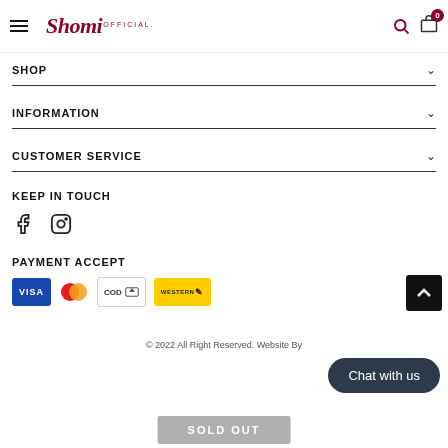Shomi OFFICIAL
SHOP
INFORMATION
CUSTOMER SERVICE
KEEP IN TOUCH
[Figure (infographic): Social media icons: Facebook and Instagram]
PAYMENT ACCEPT
[Figure (infographic): Payment method icons: VISA, Mastercard, COD, Western Union]
© 2022 All Right Reserved. Website By
Chat with us
SOLD OUT